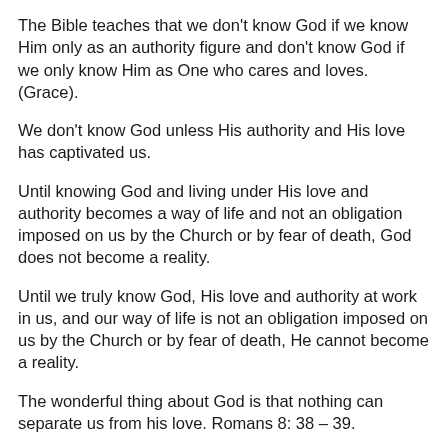The Bible teaches that we don't know God if we know Him only as an authority figure and don't know God if we only know Him as One who cares and loves. (Grace).
We don't know God unless His authority and His love has captivated us.
Until knowing God and living under His love and authority becomes a way of life and not an obligation imposed on us by the Church or by fear of death, God does not become a reality.
Until we truly know God, His love and authority at work in us, and our way of life is not an obligation imposed on us by the Church or by fear of death, He cannot become a reality.
The wonderful thing about God is that nothing can separate us from his love. Romans 8: 38 – 39.
So, we truly know God when His authority, power and love has captivated us and we begin to obey him.